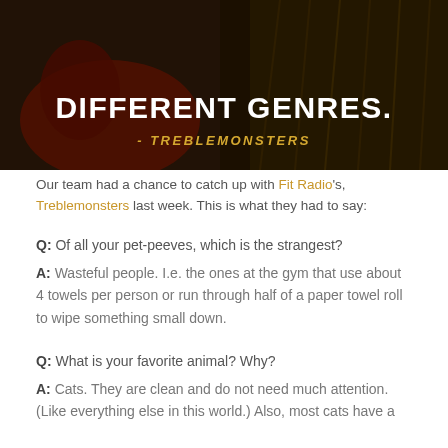[Figure (photo): Dark background photo showing a person in red pants/clothing, with text overlay reading 'DIFFERENT GENRES.' and '- TREBLEMONSTERS']
Our team had a chance to catch up with Fit Radio's, Treblemonsters last week. This is what they had to say:
Q: Of all your pet-peeves, which is the strangest?
A: Wasteful people. I.e. the ones at the gym that use about 4 towels per person or run through half of a paper towel roll to wipe something small down.
Q: What is your favorite animal? Why?
A: Cats. They are clean and do not need much attention. (Like everything else in this world.) Also, most cats have a